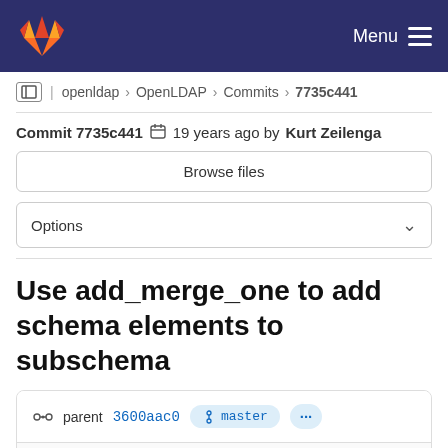GitLab — Menu
openldap › OpenLDAP › Commits › 7735c441
Commit 7735c441  19 years ago by Kurt Zeilenga
Browse files
Options
Use add_merge_one to add schema elements to subschema
parent 3600aac0  master  ...
No related merge requests found